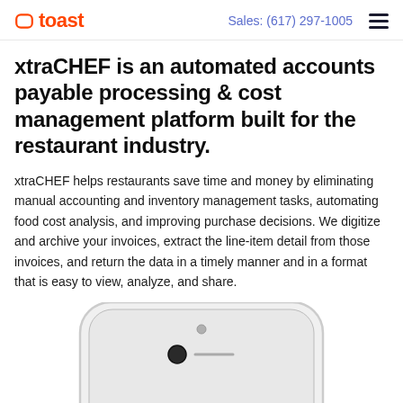toast   Sales: (617) 297-1005
xtraCHEF is an automated accounts payable processing & cost management platform built for the restaurant industry.
xtraCHEF helps restaurants save time and money by eliminating manual accounting and inventory management tasks, automating food cost analysis, and improving purchase decisions. We digitize and archive your invoices, extract the line-item detail from those invoices, and return the data in a timely manner and in a format that is easy to view, analyze, and share.
[Figure (photo): Top portion of a white smartphone showing the front camera area and speaker slot, with a dark screen partially visible at the bottom.]